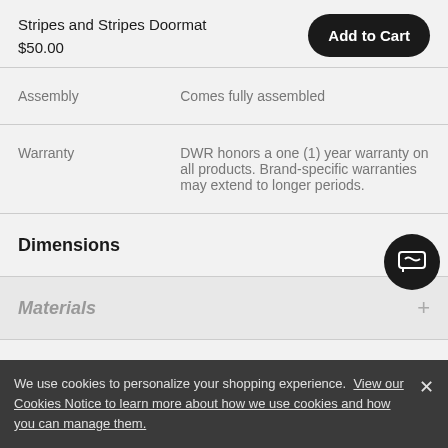Stripes and Stripes Doormat
$50.00
|  |  |
| --- | --- |
| Assembly | Comes fully assembled |
| Warranty | DWR honors a one (1) year warranty on all products. Brand-specific warranties may extend to longer periods. |
Dimensions
Materials
Designers
We use cookies to personalize your shopping experience. View our Cookies Notice to learn more about how we use cookies and how you can manage them.